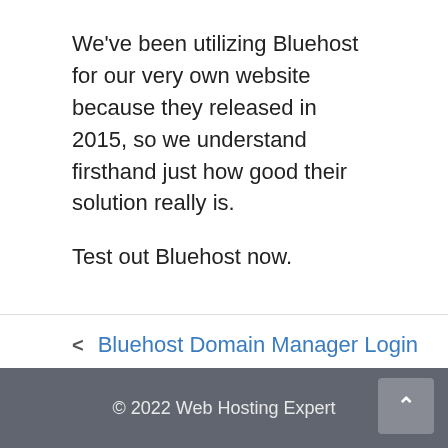We've been utilizing Bluehost for our very own website because they released in 2015, so we understand firsthand just how good their solution really is.
Test out Bluehost now.
‹ Bluehost Domain Manager Login
› Bluehost Domain Renewal Coupon
© 2022 Web Hosting Expert